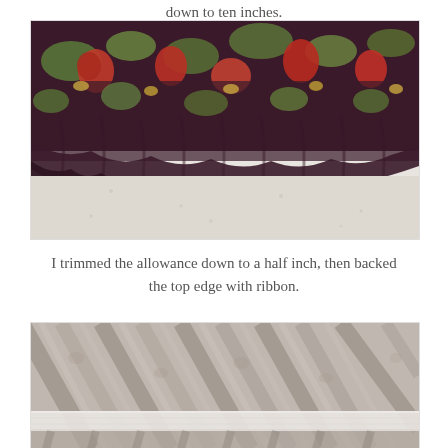down to ten inches.
[Figure (photo): Close-up of gathered floral fabric (dark purple/burgundy background with red and green flowers) with a curved gathered bottom edge on a white surface.]
I trimmed the allowance down to a half inch, then backed the top edge with ribbon.
[Figure (photo): Close-up of gathered grey/beige floral fabric with a white ribbon backing visible at the top edge.]